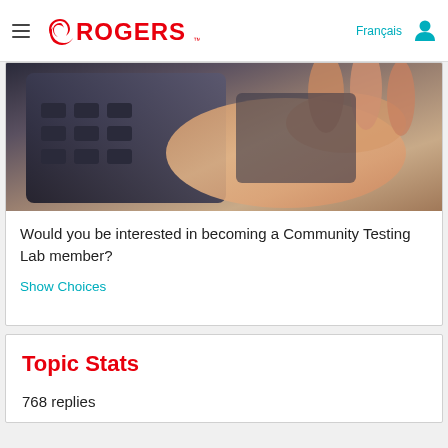Rogers – Français [navigation header]
[Figure (photo): Close-up photo of a hand holding a mobile phone/keypad, blurred background in warm brown and tan tones.]
Would you be interested in becoming a Community Testing Lab member?
Show Choices
Topic Stats
768 replies